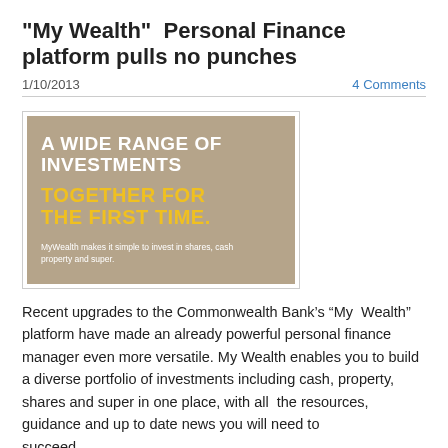"My Wealth"  Personal Finance platform pulls no punches
1/10/2013
4 Comments
[Figure (illustration): Advertisement banner with tan/beige background. White bold uppercase text reads 'A WIDE RANGE OF INVESTMENTS'. Yellow bold uppercase text reads 'TOGETHER FOR THE FIRST TIME.' Small white text reads 'MyWealth makes it simple to invest in shares, cash property and super.']
Recent upgrades to the Commonwealth Bank’s “My  Wealth” platform have made an already powerful personal finance manager even more versatile. My Wealth enables you to build a diverse portfolio of investments including cash, property, shares and super in one place, with all  the resources, guidance and up to date news you will need to succeed.